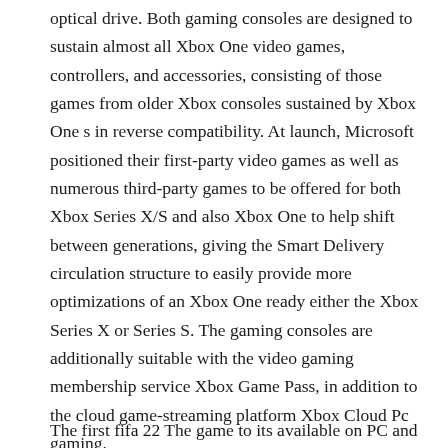optical drive. Both gaming consoles are designed to sustain almost all Xbox One video games, controllers, and accessories, consisting of those games from older Xbox consoles sustained by Xbox One s in reverse compatibility. At launch, Microsoft positioned their first-party video games as well as numerous third-party games to be offered for both Xbox Series X/S and also Xbox One to help shift between generations, giving the Smart Delivery circulation structure to easily provide more optimizations of an Xbox One ready either the Xbox Series X or Series S. The gaming consoles are additionally suitable with the video gaming membership service Xbox Game Pass, in addition to the cloud game-streaming platform Xbox Cloud Pc gaming.
The first fifa 22 The game to its available on PC and...